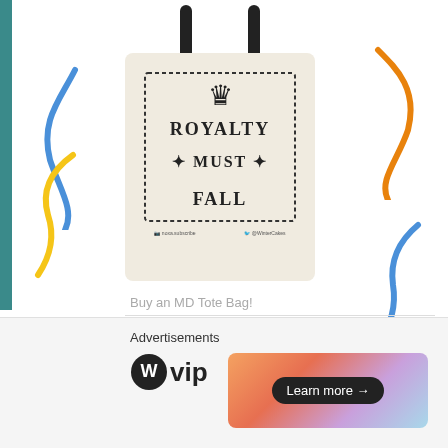[Figure (photo): A canvas tote bag with black handles displaying the text 'ROYALTY MUST FALL' inside a dotted rectangle border with a crown above it, on a cream/beige background. Decorative colored ribbon/confetti shapes (blue, orange, yellow) appear on either side of the bag.]
Buy an MD Tote Bag!
Advertisements
[Figure (logo): WordPress VIP logo - WordPress W circle icon followed by 'vip' text in bold]
[Figure (illustration): Advertisement banner with gradient background (orange/pink/purple tones) and a 'Learn more →' button in dark pill shape]